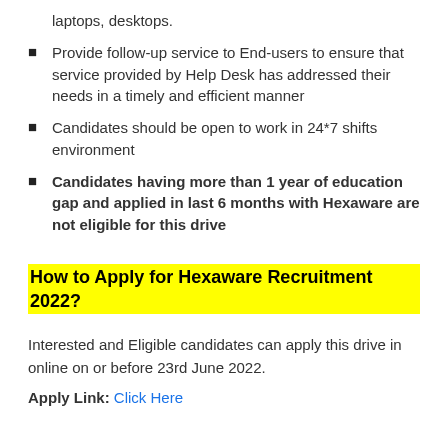laptops, desktops.
Provide follow-up service to End-users to ensure that service provided by Help Desk has addressed their needs in a timely and efficient manner
Candidates should be open to work in 24*7 shifts environment
Candidates having more than 1 year of education gap and applied in last 6 months with Hexaware are not eligible for this drive
How to Apply for Hexaware Recruitment 2022?
Interested and Eligible candidates can apply this drive in online on or before 23rd June 2022.
Apply Link: Click Here